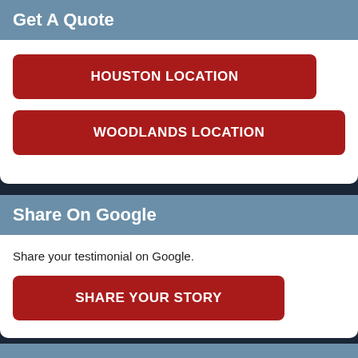Get A Quote
HOUSTON LOCATION
WOODLANDS LOCATION
Share On Google
Share your testimonial on Google.
SHARE YOUR STORY